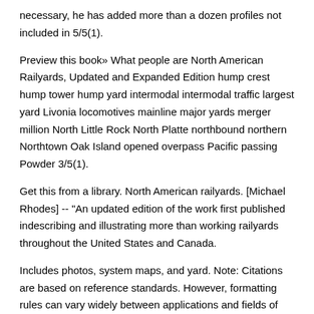necessary, he has added more than a dozen profiles not included in 5/5(1).
Preview this book» What people are North American Railyards, Updated and Expanded Edition hump crest hump tower hump yard intermodal intermodal traffic largest yard Livonia locomotives mainline major yards merger million North Little Rock North Platte northbound northern Northtown Oak Island opened overpass Pacific passing Powder 3/5(1).
Get this from a library. North American railyards. [Michael Rhodes] -- "An updated edition of the work first published indescribing and illustrating more than working railyards throughout the United States and Canada.
Includes photos, system maps, and yard. Note: Citations are based on reference standards. However, formatting rules can vary widely between applications and fields of interest or study. The specific requirements or preferences of your reviewing publisher, classroom teacher, institution or organization should be applied.